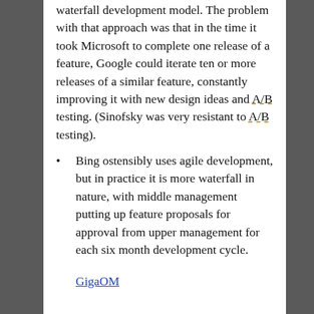waterfall development model. The problem with that approach was that in the time it took Microsoft to complete one release of a feature, Google could iterate ten or more releases of a similar feature, constantly improving it with new design ideas and A/B testing. (Sinofsky was very resistant to A/B testing).
Bing ostensibly uses agile development, but in practice it is more waterfall in nature, with middle management putting up feature proposals for approval from upper management for each six month development cycle.
GigaOM
Microsoft Office 13 Announced
Microsoft is launching Office 13 with a new